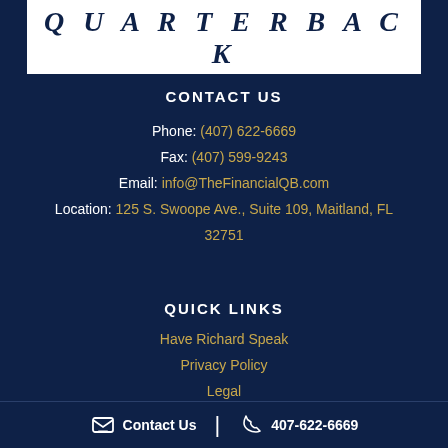[Figure (logo): QUARTERBACK logo text in bold italic serif font on white background]
CONTACT US
Phone: (407) 622-6669
Fax: (407) 599-9243
Email: info@TheFinancialQB.com
Location: 125 S. Swoope Ave., Suite 109, Maitland, FL 32751
QUICK LINKS
Have Richard Speak
Privacy Policy
Legal
Contact Us | 407-622-6669